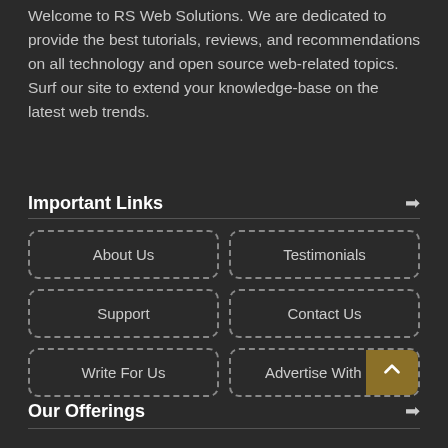Welcome to RS Web Solutions. We are dedicated to provide the best tutorials, reviews, and recommendations on all technology and open source web-related topics. Surf our site to extend your knowledge-base on the latest web trends.
Important Links
About Us
Testimonials
Support
Contact Us
Write For Us
Advertise With Us
Our Offerings